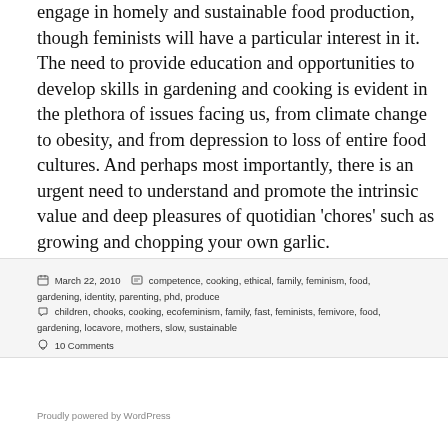engage in homely and sustainable food production, though feminists will have a particular interest in it. The need to provide education and opportunities to develop skills in gardening and cooking is evident in the plethora of issues facing us, from climate change to obesity, and from depression to loss of entire food cultures. And perhaps most importantly, there is an urgent need to understand and promote the intrinsic value and deep pleasures of quotidian 'chores' such as growing and chopping your own garlic.
March 22, 2010   competence, cooking, ethical, family, feminism, food, gardening, identity, parenting, phd, produce   children, chooks, cooking, ecofeminism, family, fast, feminists, femivore, food, gardening, locavore, mothers, slow, sustainable   10 Comments
Proudly powered by WordPress